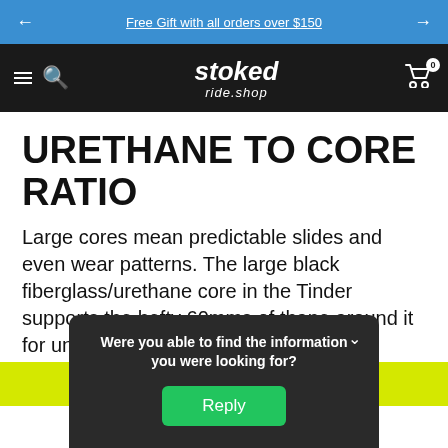Free Gift with all orders over $150
[Figure (logo): Stoked ride.shop logo in white italic text on dark nav bar]
URETHANE TO CORE RATIO
Large cores mean predictable slides and even wear patterns. The large black fiberglass/urethane core in the Tinder supports the hefty 60mms of thane around it for unparalleled precision and performance.
Were you able to find the information you were looking for?